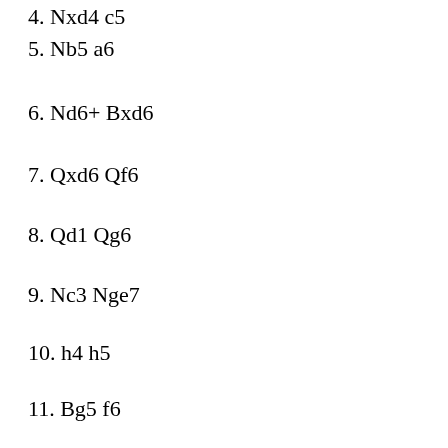4. Nxd4 c5
5. Nb5 a6
6. Nd6+ Bxd6
7. Qxd6 Qf6
8. Qd1 Qg6
9. Nc3 Nge7
10. h4 h5
11. Bg5 f6
12. Be3 d5
13. Nxd5 Nxd5
14. Qxd5 Bg4
15. f3 Rd8
16. Qb3 Bc8
17. c3 Qg3+